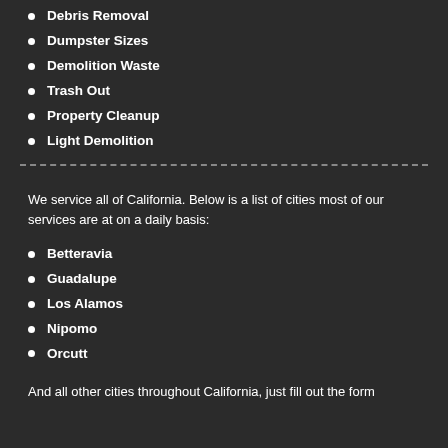Debris Removal
Dumpster Sizes
Demolition Waste
Trash Out
Property Cleanup
Light Demolition
We service all of California. Below is a list of cities most of our services are at on a daily basis:
Betteravia
Guadalupe
Los Alamos
Nipomo
Orcutt
And all other cities throughout California, just fill out the form